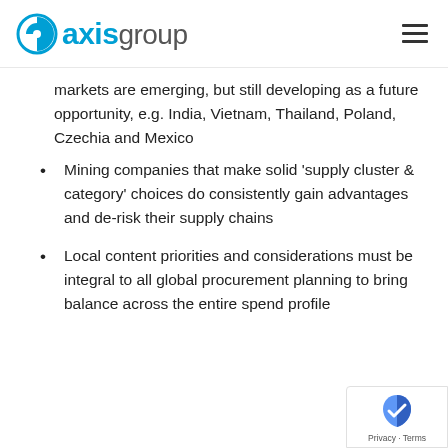axisgroup
markets are emerging, but still developing as a future opportunity, e.g. India, Vietnam, Thailand, Poland, Czechia and Mexico
Mining companies that make solid 'supply cluster & category' choices do consistently gain advantages and de-risk their supply chains
Local content priorities and considerations must be integral to all global procurement planning to bring balance across the entire spend profile